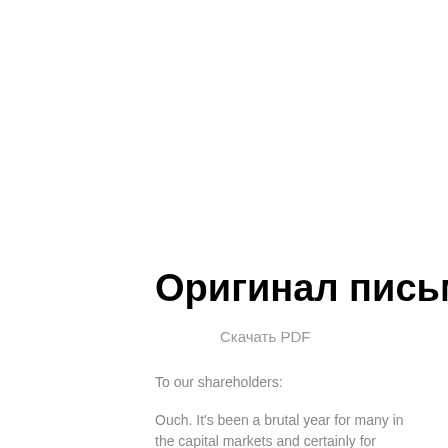Оригинал письма
Скачать PDF
To our shareholders:
Ouch. It's been a brutal year for many in the capital markets and certainly for Amazon.com shareholders. As of this